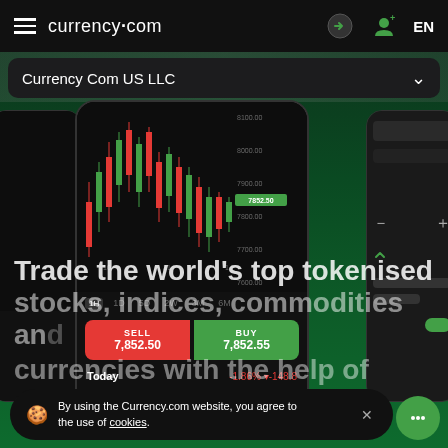currency.com  EN
Currency Com US LLC
[Figure (screenshot): Mobile trading app screenshot showing candlestick chart for a cryptocurrency (price around 7852.50), with SELL 7,852.50 (red) and BUY 7,852.55 (green) buttons, time tabs 1H 1D 5D 2W 3M 6M, y-axis labels from 7600.00 to 8100.00, Today row showing -1.86% -148.8. Left and right partial phone mockups visible.]
Trade the world's top tokenised stocks, indices, commodities and currencies with the help of crypto
By using the Currency.com website, you agree to the use of cookies.